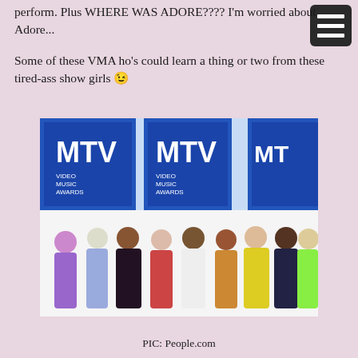perform. Plus WHERE WAS ADORE???? I'm worried about Adore...
Some of these VMA ho's could learn a thing or two from these tired-ass show girls 😉
[Figure (photo): Group photo of drag queens posing on MTV Video Music Awards red carpet/white carpet backdrop. Multiple performers in colorful elaborate costumes.]
PIC: People.com